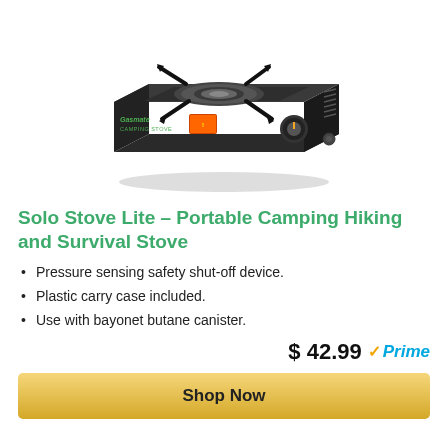[Figure (photo): Gasmate Camping Stove – a black portable single-burner butane camping stove with folding pot supports, a control knob, and warning label on the front. Shown at an angle from above.]
Solo Stove Lite – Portable Camping Hiking and Survival Stove
Pressure sensing safety shut-off device.
Plastic carry case included.
Use with bayonet butane canister.
$ 42.99 Prime
Shop Now